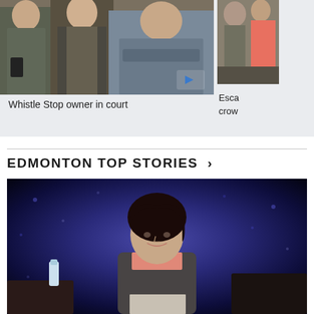[Figure (photo): Three men standing together, one in a grey jacket holding a phone, one in a pinstripe vest, one in a blue shirt with arms crossed. Play button overlay visible.]
Whistle Stop owner in court
[Figure (photo): Partial photo on right side showing people, partially cropped.]
Esca crowd
EDMONTON TOP STORIES >
[Figure (photo): Female news anchor sitting at a desk in front of a dark blue textured background, wearing a grey blazer and pink top.]